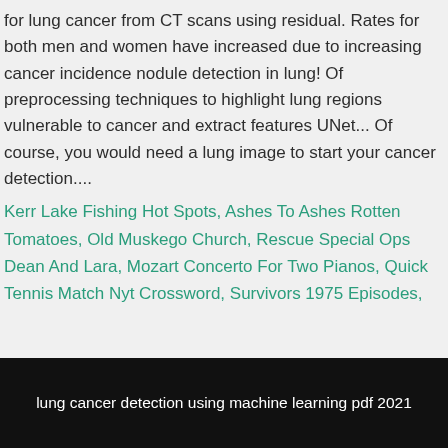for lung cancer from CT scans using residual. Rates for both men and women have increased due to increasing cancer incidence nodule detection in lung! Of preprocessing techniques to highlight lung regions vulnerable to cancer and extract features UNet... Of course, you would need a lung image to start your cancer detection....
Kerr Lake Fishing Hot Spots, Ashes To Ashes Rotten Tomatoes, Old Muskego Church, Rescue Special Ops Dean And Lara, Mozart Concerto For Two Pianos, Quick Tennis Match Nyt Crossword, Survivors 1975 Episodes,
lung cancer detection using machine learning pdf 2021